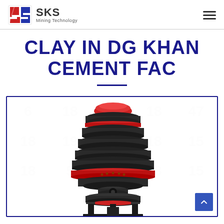SKS Mining Technology
CLAY IN DG KHAN CEMENT FAC
[Figure (photo): Industrial cone crusher machine with red and dark gray/black components, shown against a white background with repeating watermark numbers. The machine has a distinctive stacked conical top section with red accent rings.]